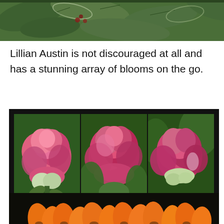[Figure (photo): Close-up photograph of green leaves and foliage, partially cropped at the top of the page]
Lillian Austin is not discouraged at all and has a stunning array of blooms on the go.
[Figure (photo): A collage of three photographs of pink/deep-red rose blooms (Lillian Austin variety) set against green foliage, displayed side-by-side in a black-bordered frame]
And calendulas are not far behind when it comes to rich colour on a sunny day.
[Figure (photo): Partial photograph of orange calendula flowers against a dark background, visible at the bottom of the page]